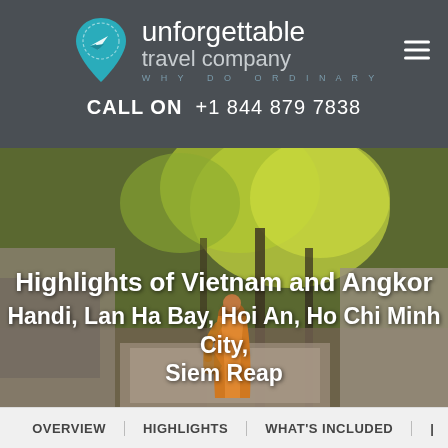unforgettable travel company — WHY DO ORDINARY — CALL ON +1 844 879 7838
[Figure (photo): A monk in orange robes walks away from the camera through ancient temple ruins at Angkor, surrounded by large trees with bright green foliage filtering afternoon sunlight]
Highlights of Vietnam and Angkor
Handi, Lan Ha Bay, Hoi An, Ho Chi Minh City, Siem Reap
OVERVIEW | HIGHLIGHTS | WHAT'S INCLUDED |